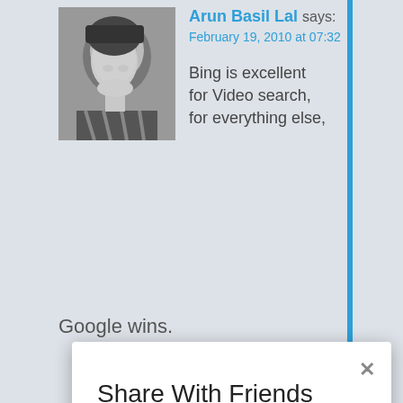[Figure (photo): Black and white portrait photo of a person looking upward]
Arun Basil Lal says:
February 19, 2010 at 07:32

Bing is excellent for Video search, for everything else,
Google wins.
Share With Friends
Facebook
Twitter
LinkedIn
Gmail